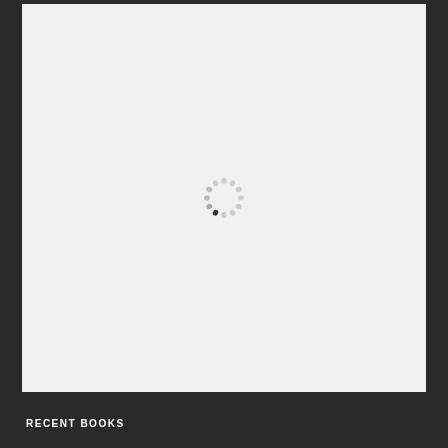[Figure (other): A loading spinner icon (dashed circle with one dark segment) centered in a light gray rectangular content area with dark borders on left and right sides.]
RECENT BOOKS